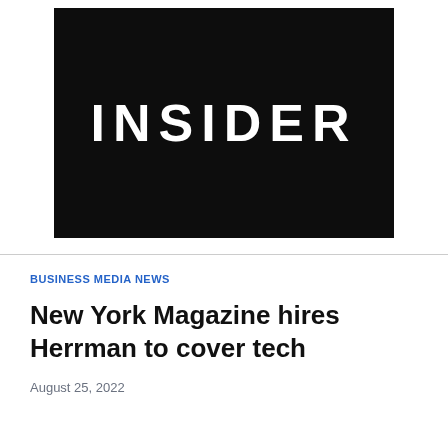[Figure (logo): INSIDER logo — white bold uppercase text on a black background]
BUSINESS MEDIA NEWS
New York Magazine hires Herrman to cover tech
August 25, 2022